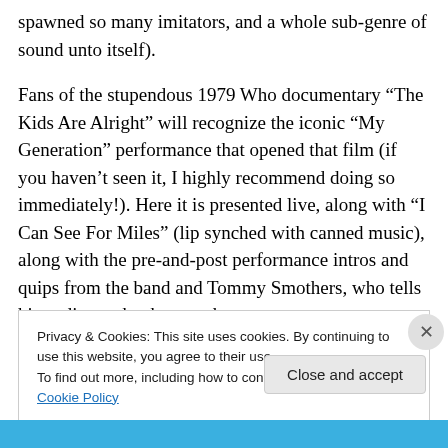spawned so many imitators, and a whole sub-genre of sound unto itself).
Fans of the stupendous 1979 Who documentary “The Kids Are Alright” will recognize the iconic “My Generation” performance that opened that film (if you haven’t seen it, I highly recommend doing so immediately!). Here it is presented live, along with “I Can See For Miles” (lip synched with canned music), along with the pre-and-post performance intros and quips from the band and Tommy Smothers, who tells his audience that he saw them at
Privacy & Cookies: This site uses cookies. By continuing to use this website, you agree to their use.
To find out more, including how to control cookies, see here: Cookie Policy